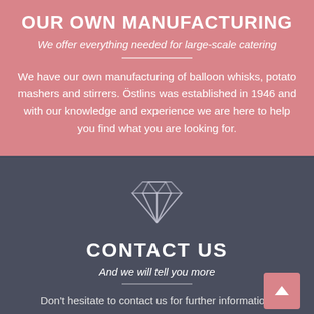OUR OWN MANUFACTURING
We offer everything needed for large-scale catering
We have our own manufacturing of balloon whisks, potato mashers and stirrers. Östlins was established in 1946 and with our knowledge and experience we are here to help you find what you are looking for.
[Figure (illustration): Diamond gem outline icon in light gray on dark background]
CONTACT US
And we will tell you more
Don't hesitate to contact us for further information.